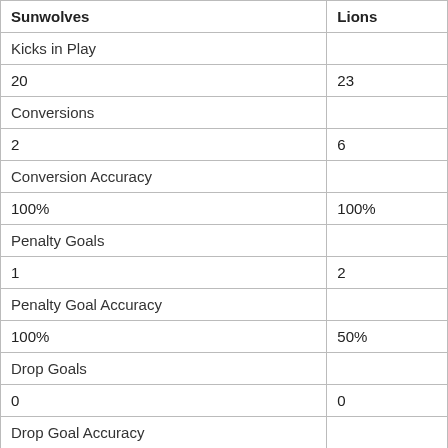| Sunwolves | Lions |
| --- | --- |
| Kicks in Play |  |
| 20 | 23 |
| Conversions |  |
| 2 | 6 |
| Conversion Accuracy |  |
| 100% | 100% |
| Penalty Goals |  |
| 1 | 2 |
| Penalty Goal Accuracy |  |
| 100% | 50% |
| Drop Goals |  |
| 0 | 0 |
| Drop Goal Accuracy |  |
| 0 | 0 |